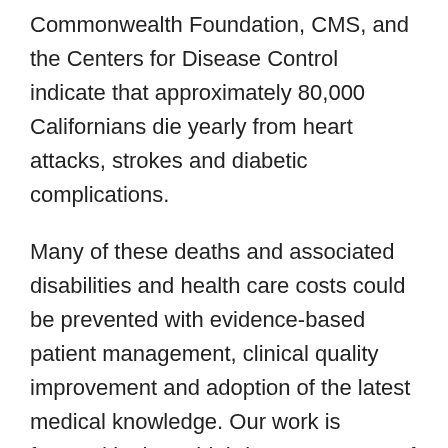Commonwealth Foundation, CMS, and the Centers for Disease Control indicate that approximately 80,000 Californians die yearly from heart attacks, strokes and diabetic complications.
Many of these deaths and associated disabilities and health care costs could be prevented with evidence-based patient management, clinical quality improvement and adoption of the latest medical knowledge. Our work is focused in these high-leverage areas of better management of cardiovascular disease and diabetes, with particular emphasis on control of blood pressure, cholesterol and blood sugar.
The Right Care initiative, created by the UC...